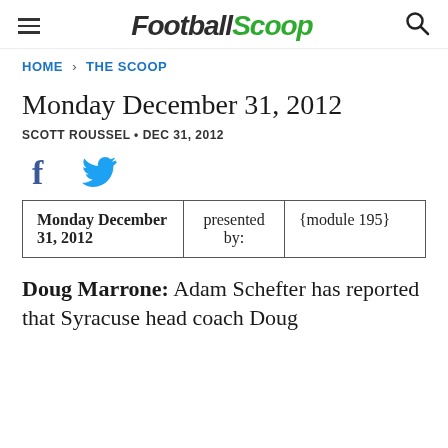FootballScoop
HOME > THE SCOOP
Monday December 31, 2012
SCOTT ROUSSEL • DEC 31, 2012
[Figure (other): Social media share icons: Facebook (f) and Twitter (bird)]
| Monday December 31, 2012 | presented by: | {module 195} |
Doug Marrone: Adam Schefter has reported that Syracuse head coach Doug